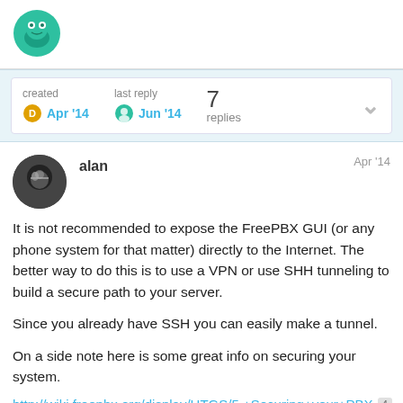[Figure (logo): FreePBX community forum logo - teal circle with frog icon]
created Apr '14   last reply Jun '14   7 replies
alan   Apr '14
It is not recommended to expose the FreePBX GUI (or any phone system for that matter) directly to the Internet. The better way to do this is to use a VPN or use SHH tunneling to build a secure path to your server.
Since you already have SSH you can easily make a tunnel.
On a side note here is some great info on securing your system.
http://wiki.freepbx.org/display/HTGS/5.+Securing+your+PBX
You might also find this useful.
1 / 8